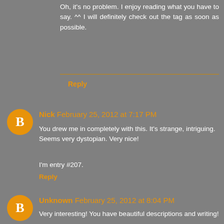Oh, it's no problem. I enjoy reading what you have to say. ^^ I will definitely check out the tag as soon as possible.
Reply
Nick February 25, 2012 at 7:17 PM
You drew me in completely with this. It's strange, intriguing. Seems very dystopian. Very nice!
I'm entry #207.
Reply
Unknown February 25, 2012 at 8:04 PM
Very interesting! You have beautiful descriptions and writing!
Reply